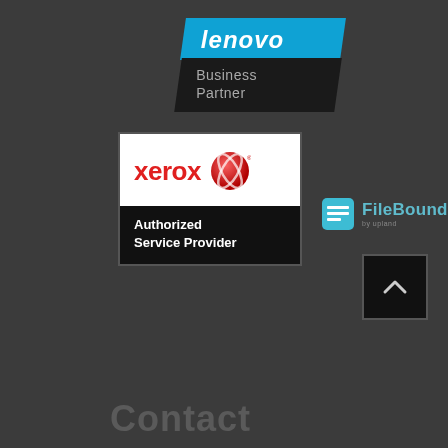[Figure (logo): Lenovo Business Partner badge with blue skewed top panel and dark skewed bottom panel reading Business Partner]
[Figure (logo): Xerox Authorized Service Provider badge with white top section showing Xerox logo and red sphere, black bottom with white text]
[Figure (logo): FileBound by Upland logo with teal icon and text]
[Figure (other): Back to top button, dark square with up caret chevron]
Contact